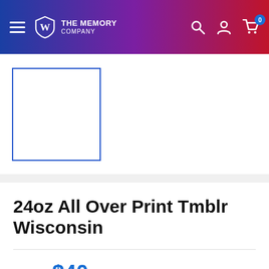The Memory Company
[Figure (photo): Product thumbnail image placeholder with blue border, white interior, for 24oz All Over Print Tmblr Wisconsin]
24oz All Over Print Tmblr Wisconsin
Price: $40